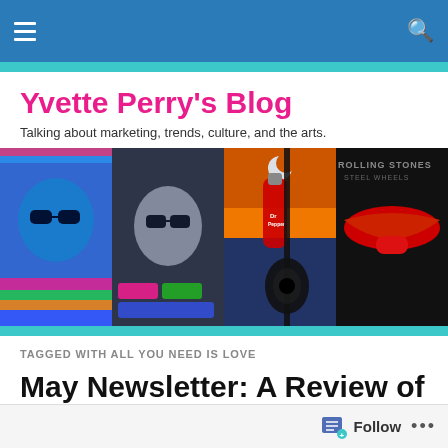Yvette Perry's Blog — navigation bar
Yvette Perry's Blog
Talking about marketing, trends, culture, and the arts.
[Figure (photo): Collage hero banner with pop-art style images: blue-tinted face with sunglasses, black-and-white person with sunglasses, Dr Pepper bottle with guitar at sunset, Rolling Stones tongue logo on album cover.]
TAGGED WITH ALL YOU NEED IS LOVE
May Newsletter: A Review of the Month's Culture, Arts + Trends